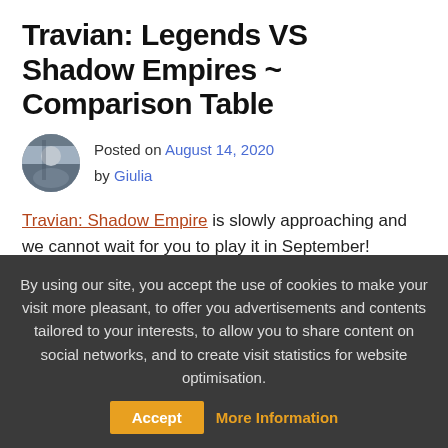Travian: Legends VS Shadow Empires ~ Comparison Table
Posted on August 14, 2020 by Giulia
Travian: Shadow Empire is slowly approaching and we cannot wait for you to play it in September!
If you have never played an Annual Special, this table will be very useful for you to check on the differences between
By using our site, you accept the use of cookies to make your visit more pleasant, to offer you advertisements and contents tailored to your interests, to allow you to share content on social networks, and to create visit statistics for website optimisation.
Accept  More Information